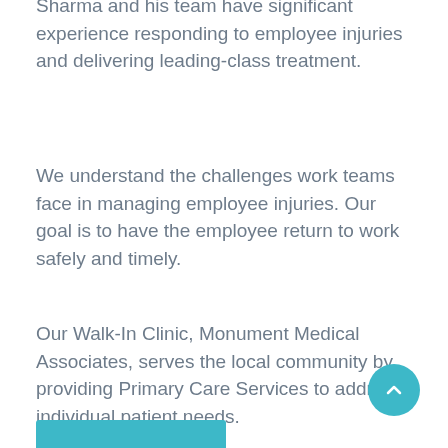Sharma and his team have significant experience responding to employee injuries and delivering leading-class treatment.
We understand the challenges work teams face in managing employee injuries. Our goal is to have the employee return to work safely and timely.
Our Walk-In Clinic, Monument Medical Associates, serves the local community by providing Primary Care Services to address individual patient needs.